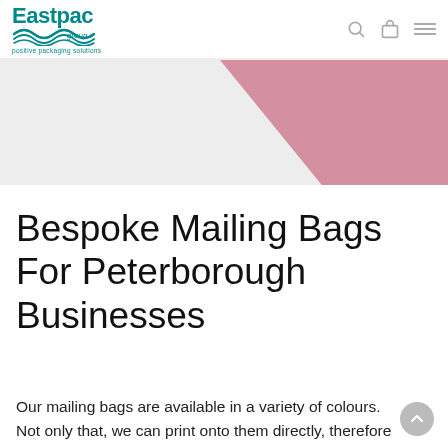Eastpac group - positive packaging solutions
[Figure (photo): Pink mailing bag triangle shape against light grey background]
Bespoke Mailing Bags For Peterborough Businesses
Our mailing bags are available in a variety of colours. Not only that, we can print onto them directly, therefore allowing you to create a bespoke